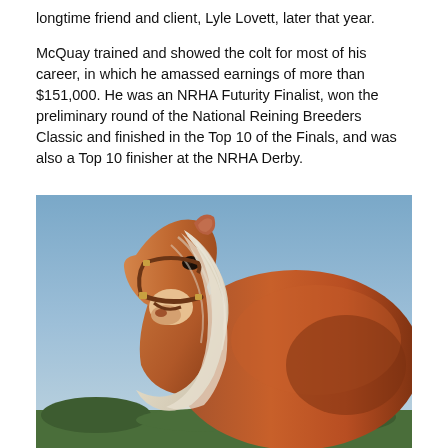longtime friend and client, Lyle Lovett, later that year.
McQuay trained and showed the colt for most of his career, in which he amassed earnings of more than $151,000. He was an NRHA Futurity Finalist, won the preliminary round of the National Reining Breeders Classic and finished in the Top 10 of the Finals, and was also a Top 10 finisher at the NRHA Derby.
[Figure (photo): A palomino horse with a thick white mane, wearing a brown leather halter, photographed against a bright blue sky background with some green trees visible at the bottom. The horse is turned slightly to show its head and neck prominently, with a muscular brown body visible behind.]